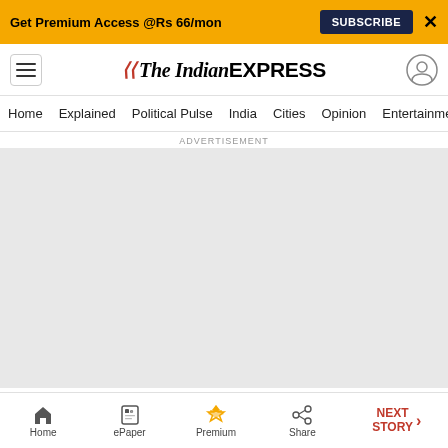Get Premium Access @Rs 66/mon  SUBSCRIBE  X
The Indian EXPRESS — Home | Explained | Political Pulse | India | Cities | Opinion | Entertainment
ADVERTISEMENT
[Figure (other): Large grey advertisement placeholder area]
Home  ePaper  Premium  Share  NEXT STORY →